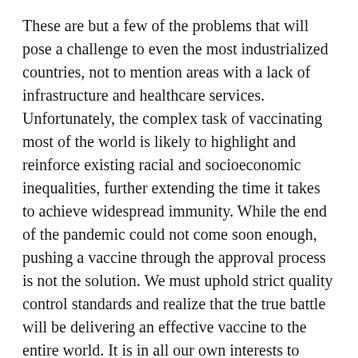These are but a few of the problems that will pose a challenge to even the most industrialized countries, not to mention areas with a lack of infrastructure and healthcare services. Unfortunately, the complex task of vaccinating most of the world is likely to highlight and reinforce existing racial and socioeconomic inequalities, further extending the time it takes to achieve widespread immunity. While the end of the pandemic could not come soon enough, pushing a vaccine through the approval process is not the solution. We must uphold strict quality control standards and realize that the true battle will be delivering an effective vaccine to the entire world. It is in all our own interests to ensure equitable access to an effective COVID-19 vaccine, for the pandemic will be over not after the first vaccination, but after the last.